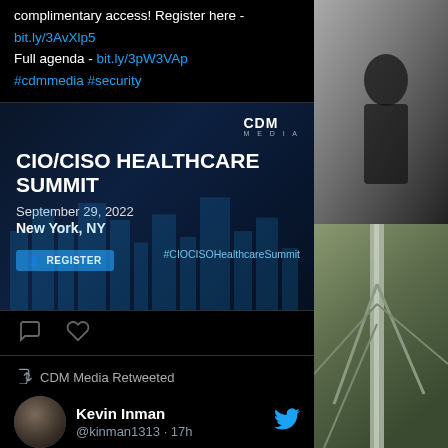complimentary access! Register here - bit.ly/3AvXlp5
Full agenda - bit.ly/3pW3VAp
#cdmmedia #security
[Figure (screenshot): CDM Media CIO/CISO Healthcare Summit banner. September 29, 2022, New York, NY. #CIOCISOHealthcareSummit. Register button.]
[Figure (screenshot): Twitter post by CDM Media Retweeted from Kevin Inman @kinman1313 17h. Text: I had a great time with CIO & CISO leaders in Dallas this week. The engagement on my talk around skill gaps and moving quickly to address]
[Figure (photo): Right side photo - person in dark background (top), metal structure/antenna (bottom)]